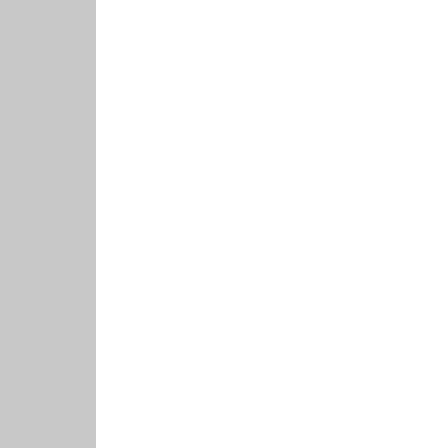relationships were ass psychological distress not teacher depressiv higher student psycho offset the impact of te
The researchers also mental health and wel
“The relationships bet teacher presenteeism be interrelated,” the a well-being may lead t reduced teacher prese
[Figure (logo): Twitter bird icon in blue]
Follow Psychia
Posted by Psychiatric Ne
Labels: absenteeism, Jo